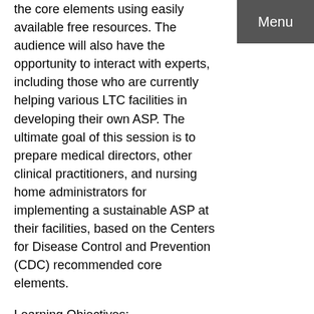the core elements using easily available free resources. The audience will also have the opportunity to interact with experts, including those who are currently helping various LTC facilities in developing their own ASP. The ultimate goal of this session is to prepare medical directors, other clinical practitioners, and nursing home administrators for implementing a sustainable ASP at their facilities, based on the Centers for Disease Control and Prevention (CDC) recommended core elements.
Menu
Learning Objectives:
(1) Describe core elements of an antibiotic stewardship program and the related CMS regulations.
(2) Discuss the need for implementing antibiotic stewardship program with all seven CDC recommended core elements and the role of medical director in the implementation.
(3) Demonstrate practical steps that can be taken to implement each element of antibiotic stewardship program using easily available resources.
(4) Review the available resources and best practices for...